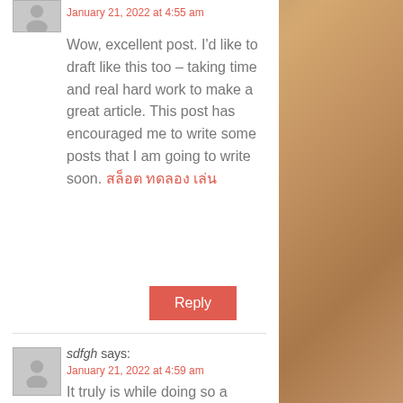January 21, 2022 at 4:55 am
Wow, excellent post. I'd like to draft like this too – taking time and real hard work to make a great article. This post has encouraged me to write some posts that I am going to write soon. สล็อต ทดลอง เล่น
Reply
sdfgh says:
January 21, 2022 at 4:59 am
It truly is while doing so a reliable area i always particularly savored checking. Is just not every day that include the